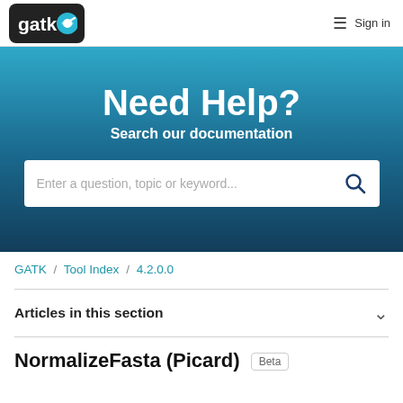gatk | Sign in
[Figure (screenshot): GATK help page hero section with teal-to-dark-blue gradient background. Shows 'Need Help?' heading, 'Search our documentation' subheading, and a search input bar with placeholder 'Enter a question, topic or keyword...' and a search icon.]
GATK / Tool Index / 4.2.0.0
Articles in this section
NormalizeFasta (Picard)